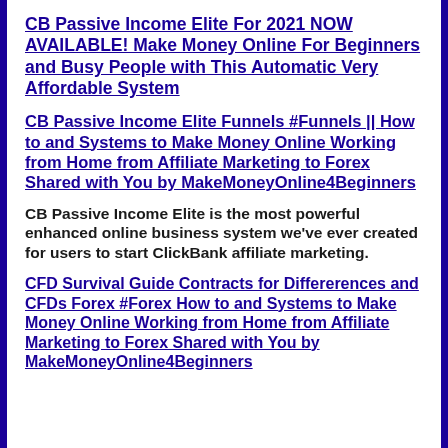CB Passive Income Elite For 2021 NOW AVAILABLE! Make Money Online For Beginners and Busy People with This Automatic Very Affordable System
CB Passive Income Elite Funnels #Funnels || How to and Systems to Make Money Online Working from Home from Affiliate Marketing to Forex Shared with You by MakeMoneyOnline4Beginners
CB Passive Income Elite is the most powerful enhanced online business system we've ever created for users to start ClickBank affiliate marketing.
CFD Survival Guide Contracts for Differerences and CFDs Forex #Forex How to and Systems to Make Money Online Working from Home from Affiliate Marketing to Forex Shared with You by MakeMoneyOnline4Beginners